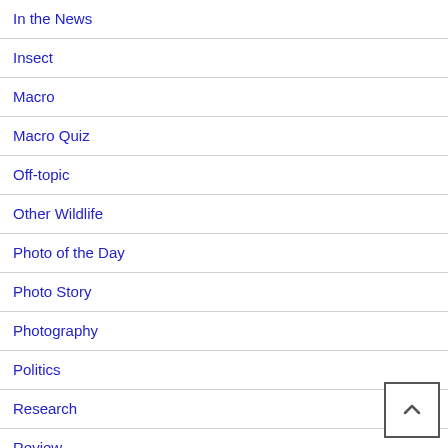In the News
Insect
Macro
Macro Quiz
Off-topic
Other Wildlife
Photo of the Day
Photo Story
Photography
Politics
Research
Review
RockHound
Science – General